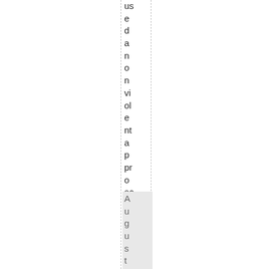used a non violent approach to [ ...]
August 4